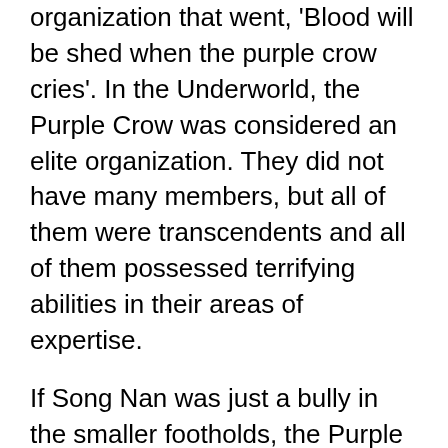organization that went, 'Blood will be shed when the purple crow cries'. In the Underworld, the Purple Crow was considered an elite organization. They did not have many members, but all of them were transcendents and all of them possessed terrifying abilities in their areas of expertise.
If Song Nan was just a bully in the smaller footholds, the Purple Crow was an enhanced version of the Mafia. Each and every official member was a world-ranked professional killer. As he stood facing the tall man, Song Nan was like a child being picked on by the grown man. He did not have the ability to defend himself at all. The tall man grabbed him by the collar and the duo flew Song Nan